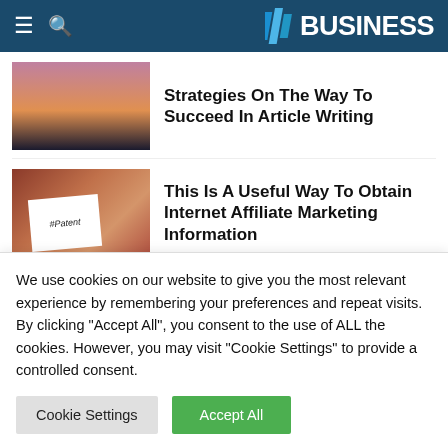BUSINESS
Strategies On The Way To Succeed In Article Writing
This Is A Useful Way To Obtain Internet Affiliate Marketing Information
LEAVE A REPLY
We use cookies on our website to give you the most relevant experience by remembering your preferences and repeat visits. By clicking "Accept All", you consent to the use of ALL the cookies. However, you may visit "Cookie Settings" to provide a controlled consent.